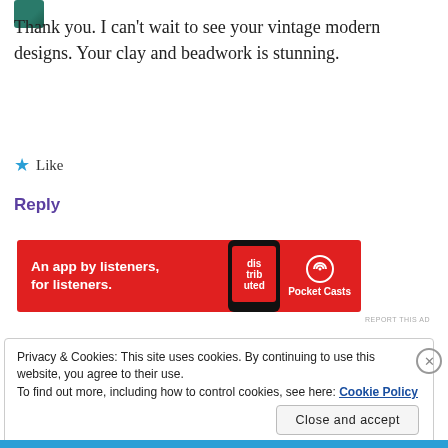[Figure (photo): Partial avatar/profile image in top-left corner, teal/green colored]
Thank you. I can't wait to see your vintage modern designs. Your clay and beadwork is stunning.
★ Like
Reply
[Figure (screenshot): Pocket Casts advertisement banner: red background, text 'An app by listeners, for listeners.' with phone image and Pocket Casts logo]
REPORT THIS AD
Privacy & Cookies: This site uses cookies. By continuing to use this website, you agree to their use.
To find out more, including how to control cookies, see here: Cookie Policy
Close and accept